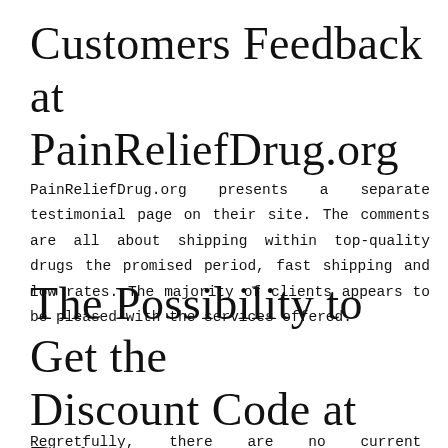Customers Feedback at PainReliefDrug.org
PainReliefDrug.org presents a separate testimonial page on their site. The comments are all about shipping within top-quality drugs the promised period, fast shipping and low rates. The majority of clients appears to be pleased with the services offered.
The Possibility to Get the Discount Code at Pain Relief Drug
Regretfully, there are no current coupon codes for